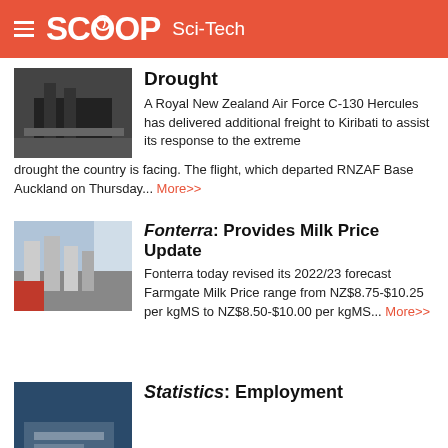SCOOP Sci-Tech
Drought
A Royal New Zealand Air Force C-130 Hercules has delivered additional freight to Kiribati to assist its response to the extreme drought the country is facing. The flight, which departed RNZAF Base Auckland on Thursday... More>>
Fonterra: Provides Milk Price Update
Fonterra today revised its 2022/23 forecast Farmgate Milk Price range from NZ$8.75-$10.25 per kgMS to NZ$8.50-$10.00 per kgMS... More>>
Statistics: Employment